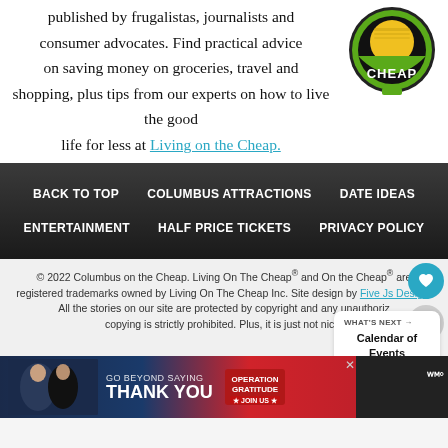published by frugalistas, journalists and consumer advocates. Find practical advice on saving money on groceries, travel and shopping, plus tips from our experts on how to live the good life for less at Living on the Cheap.
[Figure (logo): Columbus on the Cheap circular logo badge with yellow and green colors and 'CHEAP' text]
BACK TO TOP | COLUMBUS ATTRACTIONS | DATE IDEAS | ENTERTAINMENT | HALF PRICE TICKETS | PRIVACY POLICY
© 2022 Columbus on the Cheap. Living On The Cheap® and On the Cheap® are registered trademarks owned by Living On The Cheap Inc. Site design by Five Js Design. All the stories on our site are protected by copyright and any unauthorized copying is strictly prohibited. Plus, it is just not nice.
WHAT'S NEXT → Calendar of Events
[Figure (illustration): Advertisement banner: GO BEYOND SAYING THANK YOU - Operation Gratitude JOIN US]